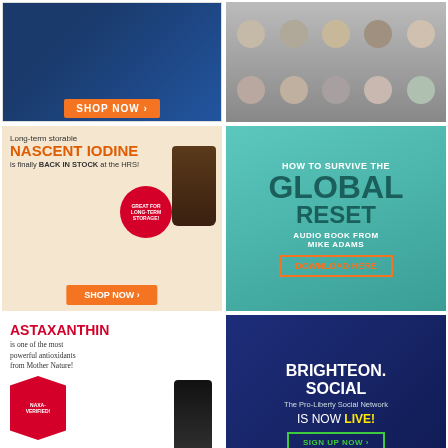[Figure (illustration): Shop Now advertisement with blue background and orange button]
[Figure (photo): Grid of headshot photos of various people]
[Figure (illustration): Nascent Iodine advertisement - Long-term storable, is finally BACK IN STOCK at the HRS!, GREAT FOR LONG-TERM STORAGE badge, SHOP NOW button]
[Figure (illustration): How to Survive the GLOBAL RESET audio book from Mike Adams, DOWNLOAD HERE button on teal background]
[Figure (illustration): ASTAXANTHIN is one of the most powerful antioxidants from Mother Nature! NAXA-VERIFIED! SHOP NOW button, woman with weights]
[Figure (illustration): BRIGHTEON.SOCIAL The Pro-Liberty Social Network IS NOW LIVE! SIGN UP NOW button on dark blue background]
[Figure (illustration): BECOME AN AFFILIATE with HRS logo on blue background]
[Figure (illustration): SURVIVAL NUTRITION on dark green background]